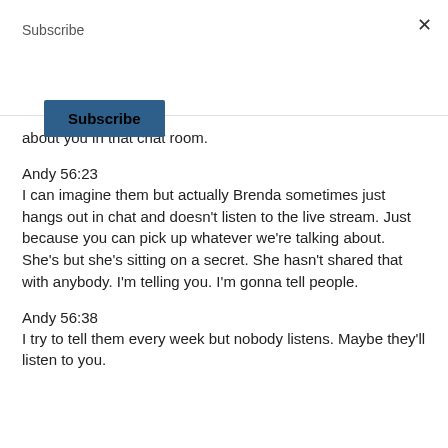Subscribe
Subscribe (button)
about you in that chat room.
Andy 56:23
I can imagine them but actually Brenda sometimes just hangs out in chat and doesn't listen to the live stream. Just because you can pick up whatever we're talking about. She's but she's sitting on a secret. She hasn't shared that with anybody. I'm telling you. I'm gonna tell people.
Andy 56:38
I try to tell them every week but nobody listens. Maybe they'll listen to you.